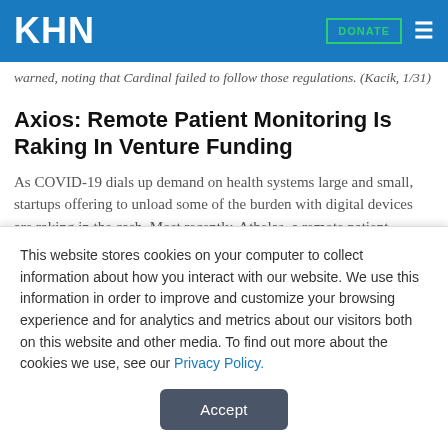KHN  DONATE
warned, noting that Cardinal failed to follow those regulations. (Kacik, 1/31)
Axios: Remote Patient Monitoring Is Raking In Venture Funding
As COVID-19 dials up demand on health systems large and small, startups offering to unload some of the burden with digital devices are raking in the cash. Most recently, Athelas, a remote patient monitoring company, raised $132 million in two back-to-back rounds led by General Catalyst (GC) and Tribe...
This website stores cookies on your computer to collect information about how you interact with our website. We use this information in order to improve and customize your browsing experience and for analytics and metrics about our visitors both on this website and other media. To find out more about the cookies we use, see our Privacy Policy.
Accept